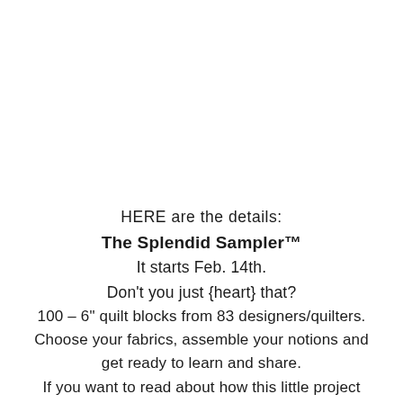HERE are the details:
The Splendid Sampler™
It starts Feb. 14th.
Don't you just {heart} that?
100 – 6" quilt blocks from 83 designers/quilters.
Choose your fabrics, assemble your notions and get ready to learn and share.
If you want to read about how this little project